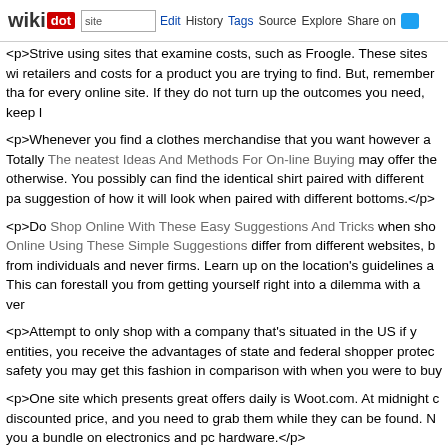wikidot | site | Edit | History | Tags | Source | Explore | Share on Twitter
<p>Strive using sites that examine costs, such as Froogle. These sites wi retailers and costs for a product you are trying to find. But, remember tha for every online site. If they do not turn up the outcomes you need, keep l
<p>Whenever you find a clothes merchandise that you want however a Totally The neatest Ideas And Methods For On-line Buying may offer the otherwise. You possibly can find the identical shirt paired with different pa suggestion of how it will look when paired with different bottoms.</p>
<p>Do Shop Online With These Easy Suggestions And Tricks when sho Online Using These Simple Suggestions differ from different websites, b from individuals and never firms. Learn up on the location's guidelines a This can forestall you from getting yourself right into a dilemma with a ver
<p>Attempt to only shop with a company that's situated in the US if y entities, you receive the advantages of state and federal shopper protec safety you may get this fashion in comparison with when you were to buy
<p>One site which presents great offers daily is Woot.com. At midnight c discounted price, and you need to grab them while they can be found. N you a bundle on electronics and pc hardware.</p>
<p>For those who lead a hectic way of life, or work odd hours, it could shop before they close. Online shopping, nonetheless, is something that night time!), and will therefore be a extra handy selection for you.</p>
<p>You can find anything and every thing you want within the worldwide e searching for groceries, tools, medicines, and even vehicles, you will get you retain this article's recommendation in mind. Use these tips to get s